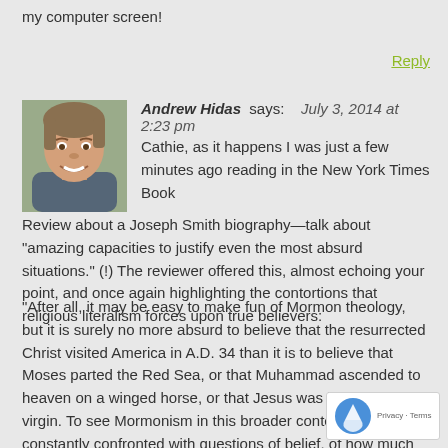my computer screen!
Reply
Andrew Hidas says: July 3, 2014 at 2:23 pm
Cathie, as it happens I was just a few minutes ago reading in the New York Times Book Review about a Joseph Smith biography—talk about “amazing capacities to justify even the most absurd situations.” (!) The reviewer offered this, almost echoing your point, and once again highlighting the contortions that religious literalism forces upon true believers:
“After all, it may be easy to make fun of Mormon theology, but it is surely no more absurd to believe that the resurrected Christ visited America in A.D. 34 than it is to believe that Moses parted the Red Sea, or that Muhammad ascended to heaven on a winged horse, or that Jesus was born of a virgin. To see Mormonism in this broader context is to be constantly confronted with questions of belief, of how much nonsense humans will